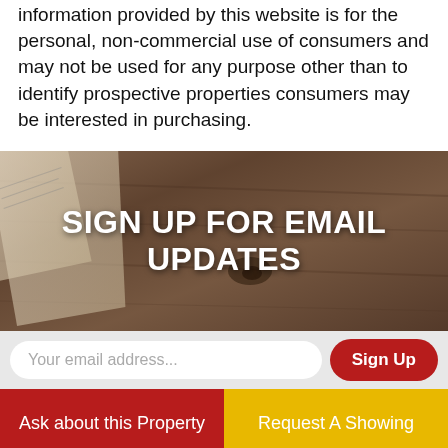information provided by this website is for the personal, non-commercial use of consumers and may not be used for any purpose other than to identify prospective properties consumers may be interested in purchasing.
[Figure (photo): Dark wood texture background with a partial view of a paper/document in the upper left corner]
SIGN UP FOR EMAIL UPDATES
Your email address...
Sign Up
Ask about this Property
Request A Showing
★ ➤ 🖨